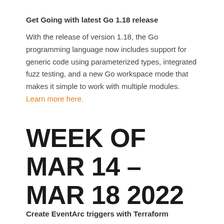Get Going with latest Go 1.18 release
With the release of version 1.18, the Go programming language now includes support for generic code using parameterized types, integrated fuzz testing, and a new Go workspace mode that makes it simple to work with multiple modules. Learn more here.
WEEK OF MAR 14 – MAR 18 2022
Create EventArc triggers with Terraform